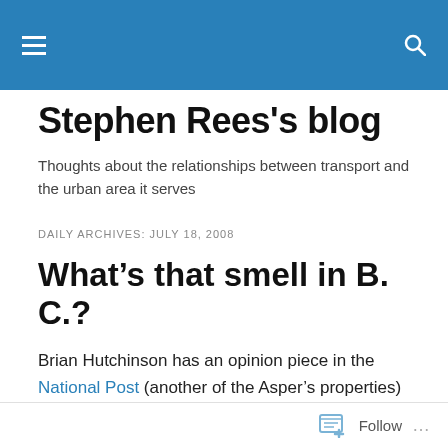Stephen Rees's blog – navigation bar with menu and search icons
Stephen Rees's blog
Thoughts about the relationships between transport and the urban area it serves
DAILY ARCHIVES: JULY 18, 2008
What's that smell in B. C.?
Brian Hutchinson has an opinion piece in the National Post (another of the Asper's properties) which ties up the recent Auditor General's report to the growing list of unresolved scandals dogging the BC Liberals. The release
Follow ...